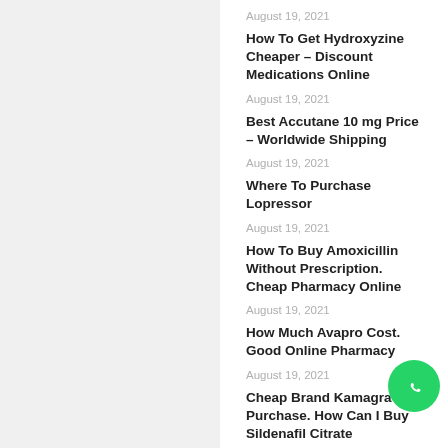August 19, 2021
How To Get Hydroxyzine Cheaper – Discount Medications Online
August 19, 2021
Best Accutane 10 mg Price – Worldwide Shipping
August 19, 2021
Where To Purchase Lopressor
August 19, 2021
How To Buy Amoxicillin Without Prescription. Cheap Pharmacy Online
August 19, 2021
How Much Avapro Cost. Good Online Pharmacy
August 19, 2021
Cheap Brand Kamagra Purchase. How Can I Buy Sildenafil Citrate
August 19, 2021
Get A Xenical Prescription